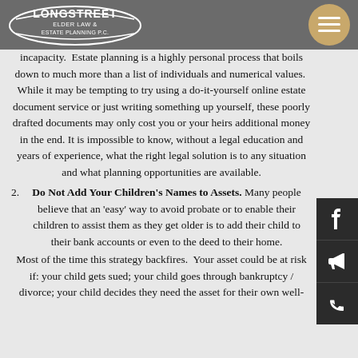Longstreet Elder Law & Estate Planning P.C.
incapacity. Estate planning is a highly personal process that boils down to much more than a list of individuals and numerical values. While it may be tempting to try using a do-it-yourself online estate document service or just writing something up yourself, these poorly drafted documents may only cost you or your heirs additional money in the end. It is impossible to know, without a legal education and years of experience, what the right legal solution is to any situation and what planning opportunities are available.
2. Do Not Add Your Children's Names to Assets. Many people believe that an 'easy' way to avoid probate or to enable their children to assist them as they get older is to add their child to their bank accounts or even to the deed to their home.
Most of the time this strategy backfires. Your asset could be at risk if: your child gets sued; your child goes through bankruptcy / divorce; your child decides they need the asset for their own well-